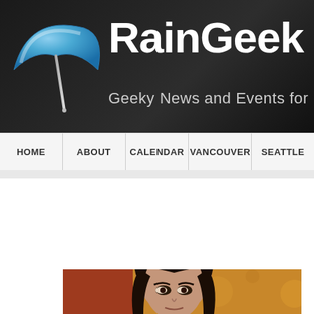[Figure (logo): RainGeek website header with blue umbrella logo, site name 'RainGeek' in large white text, and tagline 'Geeky News and Events for B...' on dark background]
HOME | ABOUT | CALENDAR | VANCOUVER | SEATTLE
Art History Featuring the Ladies of Battlestar Galactica
JULY 9, 2012 BY JAMES STROCEL   0 COMMENTS
[Figure (photo): Close-up photo of a woman with dark hair against an ornate golden/red patterned background, appearing to be an art-style composite photo]